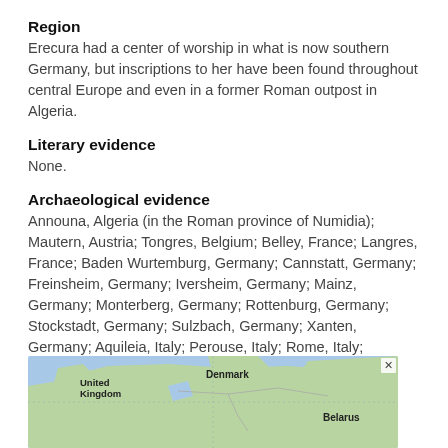Region
Erecura had a center of worship in what is now southern Germany, but inscriptions to her have been found throughout central Europe and even in a former Roman outpost in Algeria.
Literary evidence
None.
Archaeological evidence
Announa, Algeria (in the Roman province of Numidia); Mautern, Austria; Tongres, Belgium; Belley, France; Langres, France; Baden Wurtemburg, Germany; Cannstatt, Germany; Freinsheim, Germany; Iversheim, Germany; Mainz, Germany; Monterberg, Germany; Rottenburg, Germany; Stockstadt, Germany; Sulzbach, Germany; Xanten, Germany; Aquileia, Italy; Perouse, Italy; Rome, Italy; Beetgum, Netherlands; Sarmuzagetusa, Romania; Verespatak, Romania; Vranje, Slovenia
[Figure (map): A map showing parts of Europe including United Kingdom, Denmark, Belarus and surrounding regions, with green land masses and blue water bodies.]